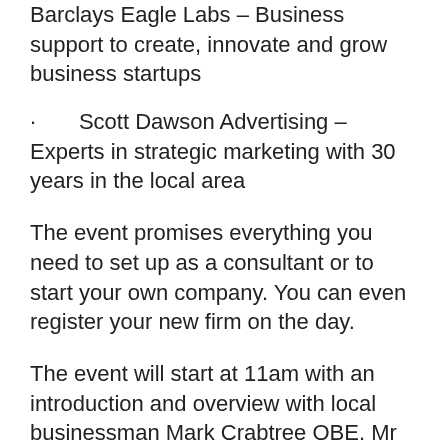Barclays Eagle Labs – Business support to create, innovate and grow business startups
Scott Dawson Advertising – Experts in strategic marketing with 30 years in the local area
The event promises everything you need to set up as a consultant or to start your own company. You can even register your new firm on the day.
The event will start at 11am with an introduction and overview with local businessman Mark Crabtree OBE. Mr Crabtree is the Director of The Landmark, former chair of Burnley Bondholders for most of the past 10 years, and founder of AMS Neve, the Oscar award-winning company specialising in digital and analogue music consoles, outboard and post-production equipment.